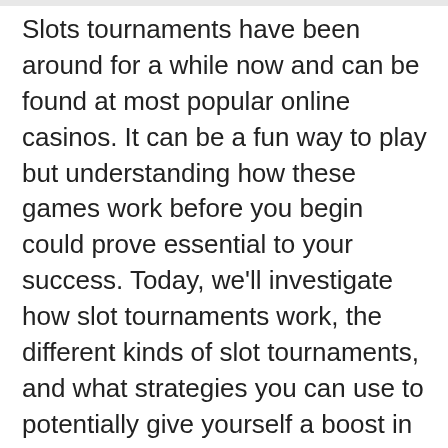Slots tournaments have been around for a while now and can be found at most popular online casinos. It can be a fun way to play but understanding how these games work before you begin could prove essential to your success. Today, we'll investigate how slot tournaments work, the different kinds of slot tournaments, and what strategies you can use to potentially give yourself a boost in the rankings and increase your odds of winning the top prizes.
If you aren't sure where to find slot tournaments, we recommend you try to play casino games